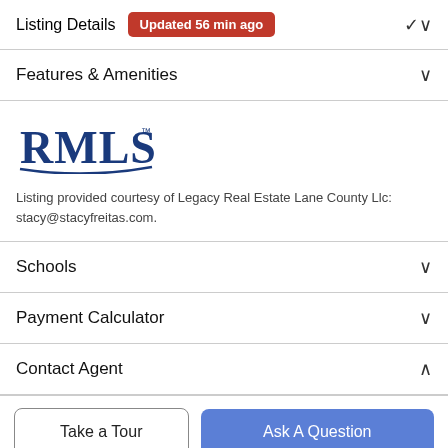Listing Details  Updated 56 min ago
Features & Amenities
[Figure (logo): RMLS logo in dark blue]
Listing provided courtesy of Legacy Real Estate Lane County Llc: stacy@stacyfreitas.com.
Schools
Payment Calculator
Contact Agent
Take a Tour
Ask A Question